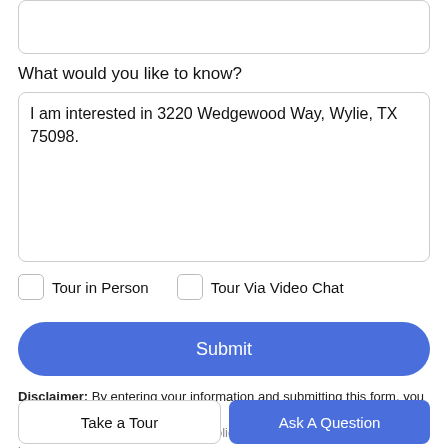[Figure (screenshot): Input field (text box) at top of form, partially visible]
What would you like to know?
I am interested in 3220 Wedgewood Way, Wylie, TX 75098.
Tour in Person
Tour Via Video Chat
Submit
Disclaimer: By entering your information and submitting this form, you agree to our Terms of Use and Privacy Policy and that you may be contacted by
Take a Tour
Ask A Question